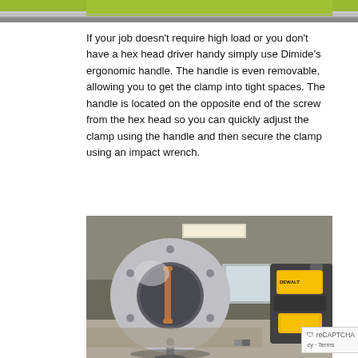[Figure (photo): Top portion of a photo showing a yellow/green tool or equipment against a light background]
If your job doesn't require high load or you don't have a hex head driver handy simply use Dimide's ergonomic handle. The handle is even removable, allowing you to get the clamp into tight spaces. The handle is located on the opposite end of the screw from the hex head so you can quickly adjust the clamp using the handle and then secure the clamp using an impact wrench.
[Figure (photo): Photo of a circular metallic clamp device with copper fittings on a stand, with a yellow DeWalt power tool visible in the background, taken in an indoor workshop setting.]